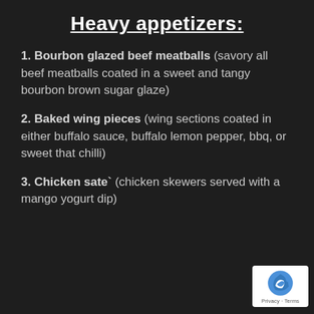Heavy appetizers:
1. Bourbon glazed beef meatballs (savory all beef meatballs coated in a sweet and tangy bourbon brown sugar glaze)
2. Baked wing pieces (wing sections coated in either buffalo sauce, buffalo lemon pepper, bbq, or sweet that chilli)
3. Chicken sate` (chicken skewers served with a mango yogurt dip)